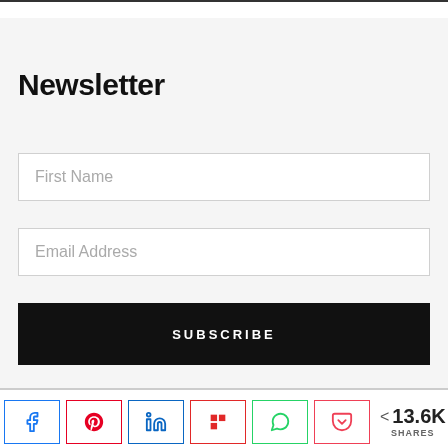Newsletter
First Name
Email Address
SUBSCRIBE
[Figure (infographic): Social share bar with icons for Facebook, Pinterest, LinkedIn, Flipboard, WhatsApp, and Pocket, plus a share count showing 13.6K SHARES]